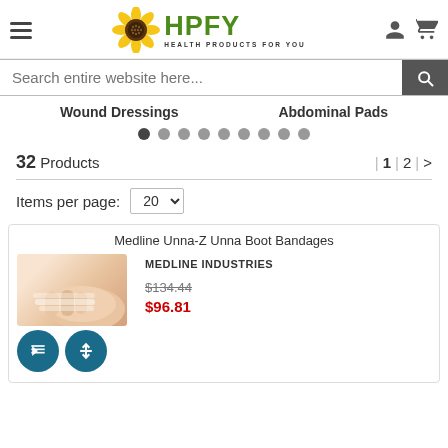[Figure (logo): HPFY - Health Products For You logo with sunflower]
Search entire website here...
Wound Dressings    Abdominal Pads
32 Products   | 1 | 2 | >
Items per page: 20
Medline Unna-Z Unna Boot Bandages
MEDLINE INDUSTRIES
$134.44
$96.81